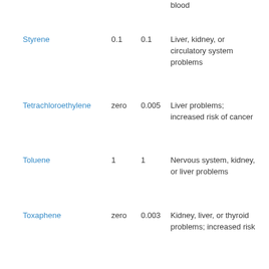| Contaminant | MCLG | MCL | Potential Health Effects |
| --- | --- | --- | --- |
|  |  |  | blood |
| Styrene | 0.1 | 0.1 | Liver, kidney, or circulatory system problems |
| Tetrachloroethylene | zero | 0.005 | Liver problems; increased risk of cancer |
| Toluene | 1 | 1 | Nervous system, kidney, or liver problems |
| Toxaphene | zero | 0.003 | Kidney, liver, or thyroid problems; increased risk |